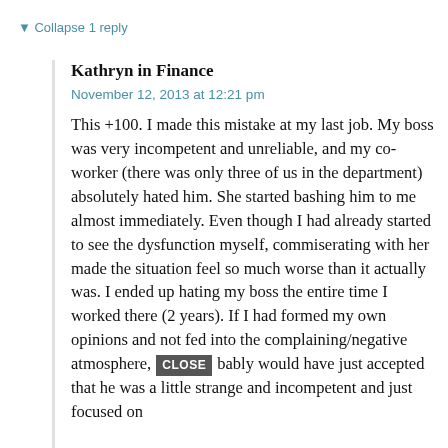Collapse 1 reply
Kathryn in Finance
November 12, 2013 at 12:21 pm
This +100. I made this mistake at my last job. My boss was very incompetent and unreliable, and my co-worker (there was only three of us in the department) absolutely hated him. She started bashing him to me almost immediately. Even though I had already started to see the dysfunction myself, commiserating with her made the situation feel so much worse than it actually was. I ended up hating my boss the entire time I worked there (2 years). If I had formed my own opinions and not fed into the complaining/negative atmosphere, CLOSE bably would have just accepted that he was a little strange and incompetent and just focused on